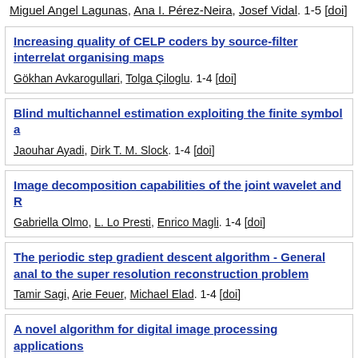Miguel Angel Lagunas, Ana I. Pérez-Neira, Josef Vidal. 1-5 [doi]
Increasing quality of CELP coders by source-filter interrelat organising maps
Gökhan Avkarogullari, Tolga Çiloglu. 1-4 [doi]
Blind multichannel estimation exploiting the finite symbol a
Jaouhar Ayadi, Dirk T. M. Slock. 1-4 [doi]
Image decomposition capabilities of the joint wavelet and R
Gabriella Olmo, L. Lo Presti, Enrico Magli. 1-4 [doi]
The periodic step gradient descent algorithm - General anal to the super resolution reconstruction problem
Tamir Sagi, Arie Feuer, Michael Elad. 1-4 [doi]
A novel algorithm for digital image processing applications
Said Boussakta. 1-5 [doi]